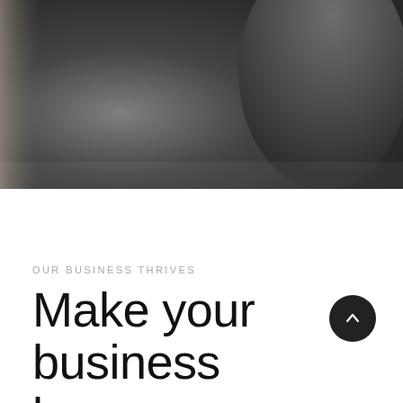[Figure (photo): Close-up photograph of dark charcoal/grey fabric or clothing, showing texture and folds. The left edge shows a small strip of lighter background.]
OUR BUSINESS THRIVES
Make your business boom